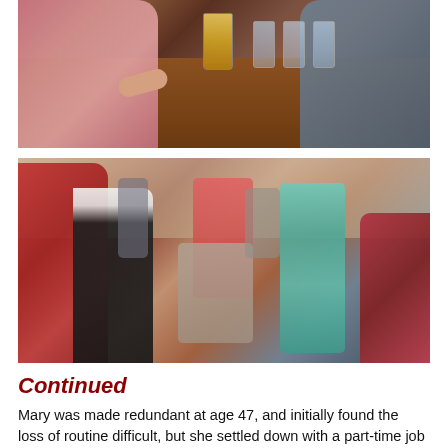[Figure (photo): Top photo: People seated around a wooden bar/pub table with drinks including a pint of beer and water glasses. A woman in a pink floral top is visible on the left, and a man in a grey top on the right.]
[Figure (photo): Bottom photo: Group of people at a social gathering or party in a pub/club setting. Several women are visible, one in a red floral top, one in a teal/mint sequined dress standing, one in a pink top in the background, and others seated and standing around the room.]
Continued
Mary was made redundant at age 47, and initially found the loss of routine difficult, but she settled down with a part-time job at Bradford and Bingley building society. She liked the social aspect of work. In the early 80s Mary